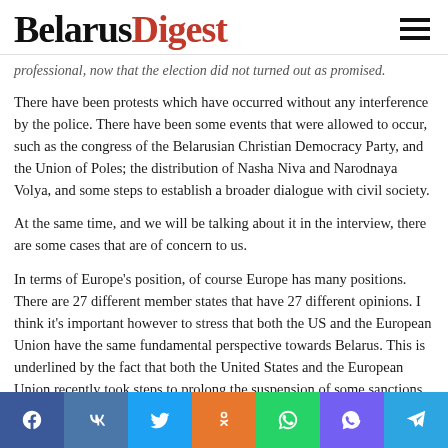BelarusDigest
professional, now that the election did not turned out as promised.
There have been protests which have occurred without any interference by the police. There have been some events that were allowed to occur, such as the congress of the Belarusian Christian Democracy Party, and the Union of Poles; the distribution of Nasha Niva and Narodnaya Volya, and some steps to establish a broader dialogue with civil society.
At the same time, and we will be talking about it in the interview, there are some cases that are of concern to us.
In terms of Europe's position, of course Europe has many positions. There are 27 different member states that have 27 different opinions. I think it's important however to stress that both the US and the European Union have the same fundamental perspective towards Belarus. This is underlined by the fact that both the United States and the European Union recently took steps to prolong the suspension of some sanctions. But it also indicates that neither the European Union nor the US are in a position to be able to remove sanctions. The government in Washington made a decision to keep
[Figure (infographic): Social media share bar with icons for Facebook, VK, Twitter, Odnoklassniki, WhatsApp, Viber, and Telegram]